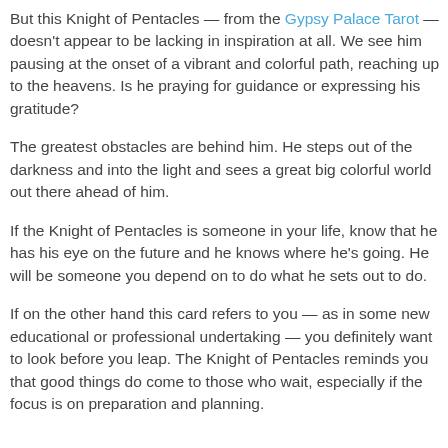But this Knight of Pentacles — from the Gypsy Palace Tarot — doesn't appear to be lacking in inspiration at all. We see him pausing at the onset of a vibrant and colorful path, reaching up to the heavens. Is he praying for guidance or expressing his gratitude?
The greatest obstacles are behind him. He steps out of the darkness and into the light and sees a great big colorful world out there ahead of him.
If the Knight of Pentacles is someone in your life, know that he has his eye on the future and he knows where he's going. He will be someone you depend on to do what he sets out to do.
If on the other hand this card refers to you — as in some new educational or professional undertaking — you definitely want to look before you leap. The Knight of Pentacles reminds you that good things do come to those who wait, especially if the focus is on preparation and planning.